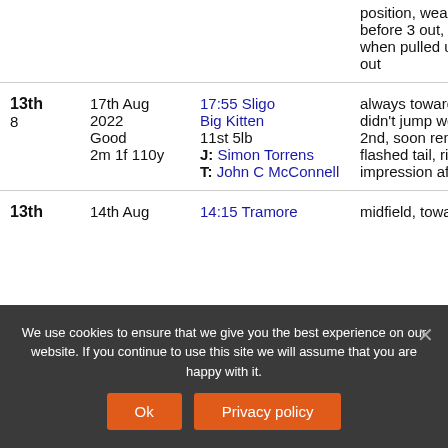| Position | Date | Race | Comment |
| --- | --- | --- | --- |
|  |  |  | position, weak before 3 out, t when pulled up out |
| 13th
8 | 17th Aug
2022
Good
2m 1f 110y | 17:55 Sligo
Big Kitten
11st 5lb
J: Simon Torrens
T: John C McConnell | always toward didn't jump wel 2nd, soon remi flashed tail, rid impression aft |
| 13th | 14th Aug | 14:15 Tramore | midfield, towar |
We use cookies to ensure that we give you the best experience on our website. If you continue to use this site we will assume that you are happy with it.